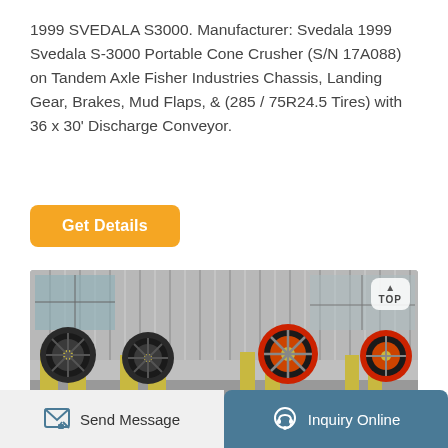1999 SVEDALA S3000. Manufacturer: Svedala 1999 Svedala S-3000 Portable Cone Crusher (S/N 17A088) on Tandem Axle Fisher Industries Chassis, Landing Gear, Brakes, Mud Flaps, & (285 / 75R24.5 Tires) with 36 x 30' Discharge Conveyor.
Get Details
[Figure (photo): Industrial jaw crusher machines lined up in a warehouse/factory setting with corrugated metal walls. Multiple large flywheel/pulley mechanisms are visible in yellow and black machinery.]
TOP
Send Message    Inquiry Online